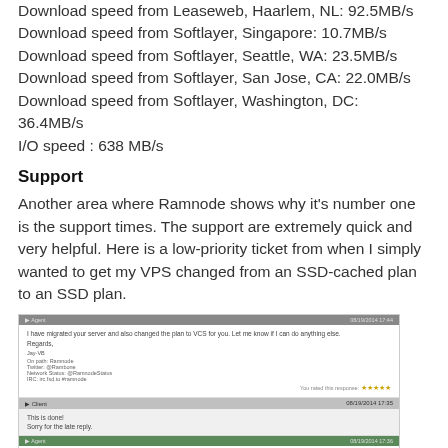Download speed from Leaseweb, Haarlem, NL: 92.5MB/s
Download speed from Softlayer, Singapore: 10.7MB/s
Download speed from Softlayer, Seattle, WA: 23.5MB/s
Download speed from Softlayer, San Jose, CA: 22.0MB/s
Download speed from Softlayer, Washington, DC: 36.4MB/s
I/O speed : 638 MB/s
Support
Another area where Ramnode shows why it's number one is the support times. The support are extremely quick and very helpful. Here is a low-priority ticket from when I simply wanted to get my VPS changed from an SSD-cached plan to an SSD plan.
[Figure (screenshot): Screenshot of a support ticket conversation showing multiple exchanges between user and Ramnode support, with star ratings visible]